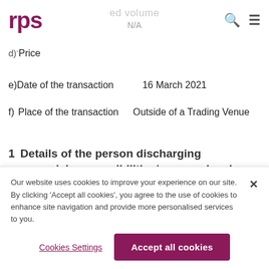RPS [logo] | ed volume | N/A | [search icon] [menu icon]
d) -Price
e) Date of the transaction    16 March 2021
f) Place of the transaction    Outside of a Trading Venue
1 Details of the person discharging managerial responsibilities/person closely associated
Our website uses cookies to improve your experience on our site. By clicking ‘Accept all cookies’, you agree to the use of cookies to enhance site navigation and provide more personalised services to you.
Cookies Settings
Accept all cookies